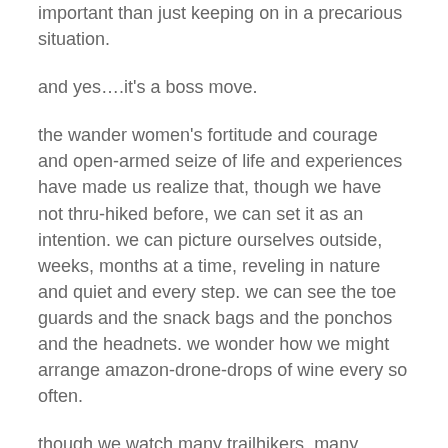important than just keeping on in a precarious situation.
and yes….it's a boss move.
the wander women's fortitude and courage and open-armed seize of life and experiences have made us realize that, though we have not thru-hiked before, we can set it as an intention. we can picture ourselves outside, weeks, months at a time, reveling in nature and quiet and every step. we can see the toe guards and the snack bags and the ponchos and the headnets. we wonder how we might arrange amazon-drone-drops of wine every so often.
though we watch many trailhikers, many backpackers and, as you know, have a certain affinity for, among others, that elusive my-own-frontier joey, it is the wander women – kristy and annette and, on earlier journeys, lynn, who inspire us, people of the same 'certain' age. they made a plan and set goals – retired, sold off their homes, their